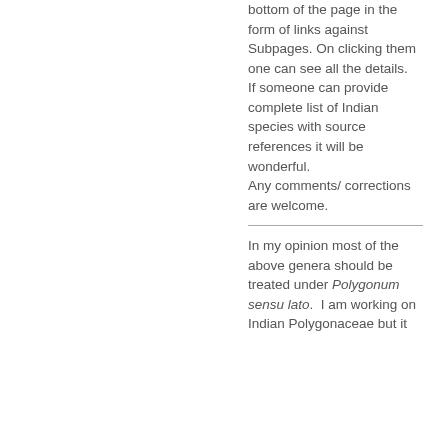bottom of the page in the form of links against Subpages. On clicking them one can see all the details. If someone can provide complete list of Indian species with source references it will be wonderful. Any comments/ corrections are welcome.
In my opinion most of the above genera should be treated under Polygonum sensu lato.  I am working on Indian Polygonaceae but it